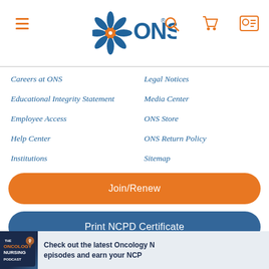[Figure (logo): ONS (Oncology Nursing Society) logo with starburst graphic and navigation icons including hamburger menu, search, cart, and user icons]
Careers at ONS
Legal Notices
Educational Integrity Statement
Media Center
Employee Access
ONS Store
Help Center
ONS Return Policy
Institutions
Sitemap
Join/Renew
Print NCPD Certificate
Earn Contact Hours
[Figure (photo): Oncology Nursing Podcast promotional banner with phone displaying podcast logo and text: Check out the latest Oncology N... episodes and earn your NCP...]